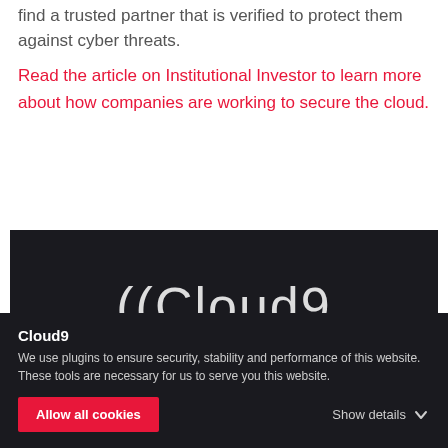find a trusted partner that is verified to protect them against cyber threats.
Read the article on Institutional Investor to learn more about how companies are working to secure the cloud.
[Figure (logo): Cloud9 logo on dark background]
Cloud9
We use plugins to ensure security, stability and performance of this website. These tools are necessary for us to serve you this website.
Allow all cookies
Show details